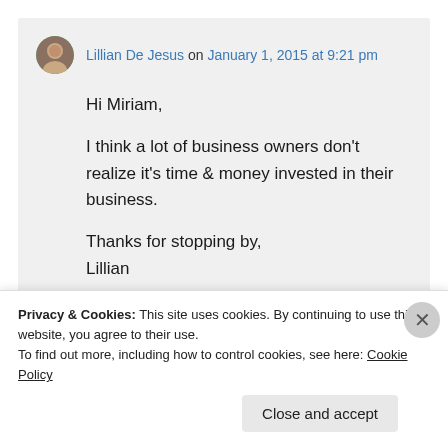Lillian De Jesus on January 1, 2015 at 9:21 pm
Hi Miriam,

I think a lot of business owners don't realize it's time & money invested in their business.

Thanks for stopping by,
Lillian
Privacy & Cookies: This site uses cookies. By continuing to use this website, you agree to their use.
To find out more, including how to control cookies, see here: Cookie Policy